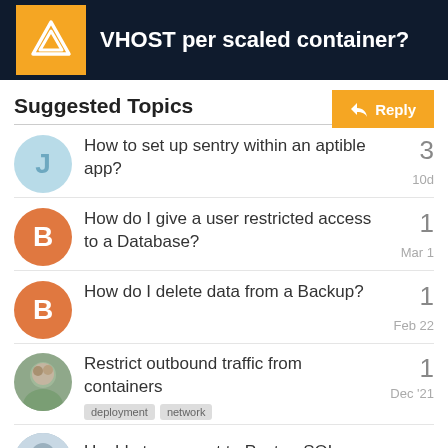VHOST per scaled container?
Suggested Topics
How to set up sentry within an aptible app? — 3 replies — 10d
How do I give a user restricted access to a Database? — 1 reply — Mar 1
How do I delete data from a Backup? — 1 reply — Feb 22
Restrict outbound traffic from containers — deployment, network — 1 reply — Dec '21
Unable to connect to PostgreSQL